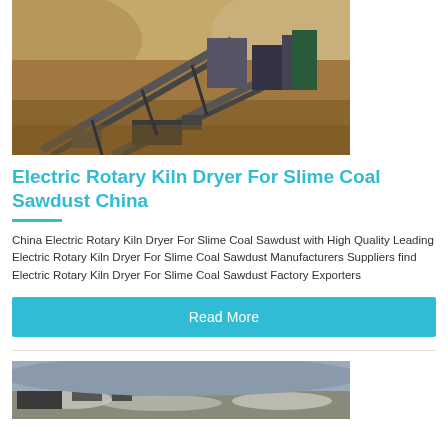[Figure (photo): Aerial view of a large industrial mining or crushing plant with conveyor belts and equipment in a desert/dry landscape]
Electric Rotary Kiln Dryer For Slime Coal Sawdust China
China Electric Rotary Kiln Dryer For Slime Coal Sawdust with High Quality Leading Electric Rotary Kiln Dryer For Slime Coal Sawdust Manufacturers Suppliers find Electric Rotary Kiln Dryer For Slime Coal Sawdust Factory Exporters
Read More
[Figure (photo): Partial view of an industrial site with heavy machinery, snow or debris on the ground]